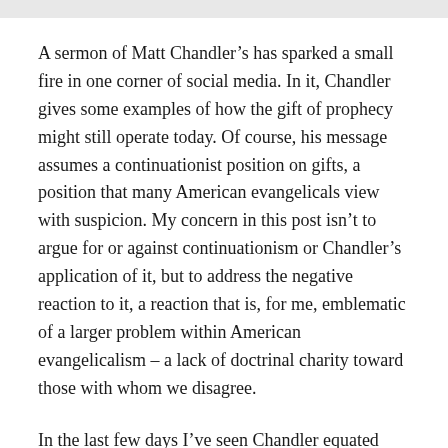A sermon of Matt Chandler's has sparked a small fire in one corner of social media. In it, Chandler gives some examples of how the gift of prophecy might still operate today. Of course, his message assumes a continuationist position on gifts, a position that many American evangelicals view with suspicion. My concern in this post isn't to argue for or against continuationism or Chandler's application of it, but to address the negative reaction to it, a reaction that is, for me, emblematic of a larger problem within American evangelicalism – a lack of doctrinal charity toward those with whom we disagree.
In the last few days I've seen Chandler equated false teaching and false prophecy, and called a host of other names — things that I really can't. Not to mention the...